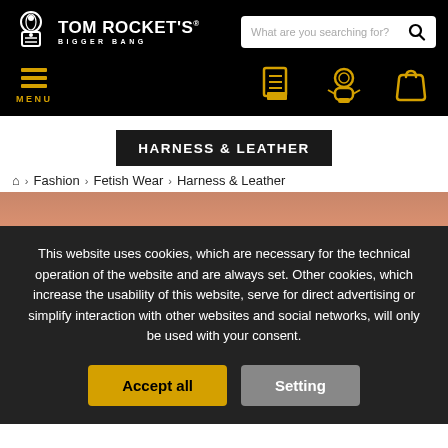TOM ROCKET'S BIGGER BANG
HARNESS & LEATHER
Fashion > Fetish Wear > Harness & Leather
This website uses cookies, which are necessary for the technical operation of the website and are always set. Other cookies, which increase the usability of this website, serve for direct advertising or simplify interaction with other websites and social networks, will only be used with your consent.
Accept all | Setting